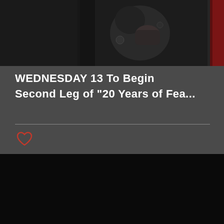[Figure (photo): Band photo strip at top showing heavily tattooed musicians in dark clothing; partial red-toned photo visible at right edge]
WEDNESDAY 13 To Begin Second Leg of "20 Years of Fea...
[Figure (other): Heart icon (unfilled, red outline) indicating a like/favorite button]
[Figure (other): Pagination dots: one active (pink/light) and two inactive (gray)]
Recent Posts
[Figure (photo): Small thumbnail image of Wednesday 13 band members grouped together]
WEDNESDAY 13 To Begin Second Leg of "20 Years of Fear" North American Headline Tour...